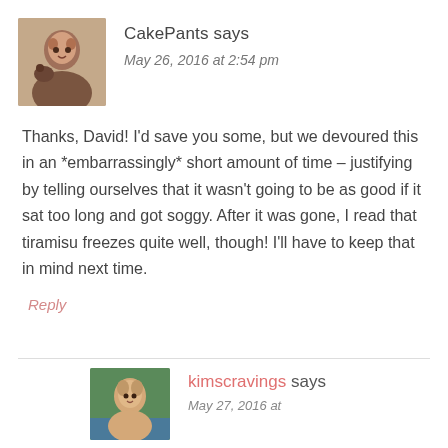[Figure (photo): Avatar photo of CakePants user — woman with a dog]
CakePants says
May 26, 2016 at 2:54 pm
Thanks, David! I'd save you some, but we devoured this in an *embarrassingly* short amount of time – justifying by telling ourselves that it wasn't going to be as good if it sat too long and got soggy. After it was gone, I read that tiramisu freezes quite well, though! I'll have to keep that in mind next time.
Reply
[Figure (photo): Avatar photo of kimscravings user — woman outdoors]
kimscravings says